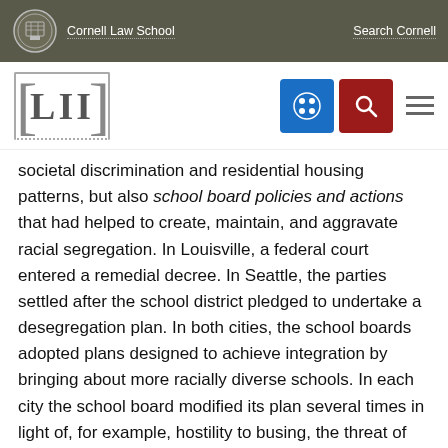Cornell Law School | Search Cornell
[Figure (logo): LII Legal Information Institute logo with navigation icons]
societal discrimination and residential housing patterns, but also school board policies and actions that had helped to create, maintain, and aggravate racial segregation. In Louisville, a federal court entered a remedial decree. In Seattle, the parties settled after the school district pledged to undertake a desegregation plan. In both cities, the school boards adopted plans designed to achieve integration by bringing about more racially diverse schools. In each city the school board modified its plan several times in light of, for example, hostility to busing, the threat of resegregation, and the desirability of introducing greater student choice. And in each city, the school boards' plans have evolved over time in ways that